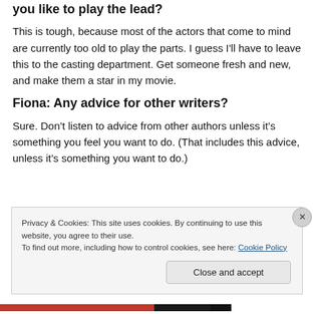you like to play the lead?
This is tough, because most of the actors that come to mind are currently too old to play the parts. I guess I'll have to leave this to the casting department. Get someone fresh and new, and make them a star in my movie.
Fiona: Any advice for other writers?
Sure. Don’t listen to advice from other authors unless it’s something you feel you want to do. (That includes this advice, unless it’s something you want to do.)
Privacy & Cookies: This site uses cookies. By continuing to use this website, you agree to their use.
To find out more, including how to control cookies, see here: Cookie Policy